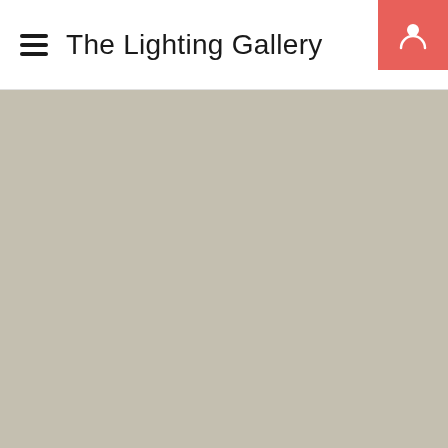The Lighting Gallery
[Figure (screenshot): Beige/tan colored content area placeholder below the navigation header]